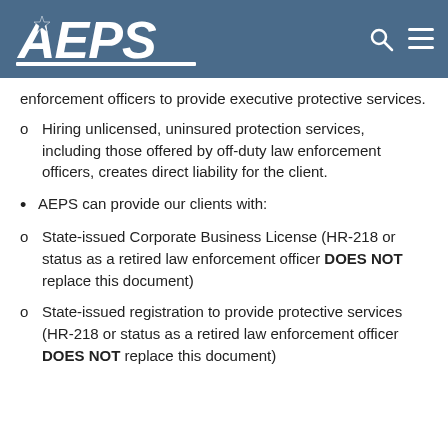[Figure (logo): AEPS logo — white italic bold text on steel-blue header bar, with a star in the A, plus search and hamburger menu icons on the right]
enforcement officers to provide executive protective services.
o   Hiring unlicensed, uninsured protection services, including those offered by off-duty law enforcement officers, creates direct liability for the client.
• AEPS can provide our clients with:
o   State-issued Corporate Business License (HR-218 or status as a retired law enforcement officer DOES NOT replace this document)
o   State-issued registration to provide protective services (HR-218 or status as a retired law enforcement officer DOES NOT replace this document)